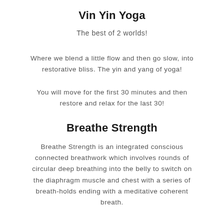Vin Yin Yoga
The best of 2 worlds!
Where we blend a little flow and then go slow, into restorative bliss. The yin and yang of yoga!
You will move for the first 30 minutes and then restore and relax for the last 30!
Breathe Strength
Breathe Strength is an integrated conscious connected breathwork which involves rounds of circular deep breathing into the belly to switch on the diaphragm muscle and chest with a series of breath-holds ending with a meditative coherent breath.